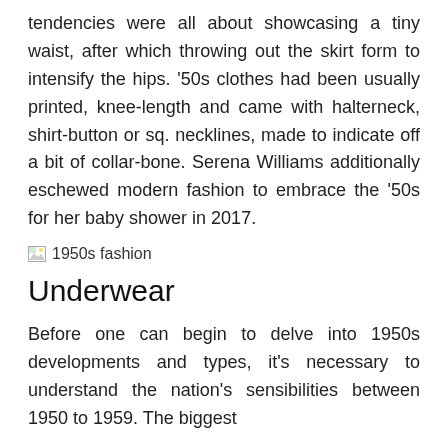tendencies were all about showcasing a tiny waist, after which throwing out the skirt form to intensify the hips. '50s clothes had been usually printed, knee-length and came with halterneck, shirt-button or sq. necklines, made to indicate off a bit of collar-bone. Serena Williams additionally eschewed modern fashion to embrace the '50s for her baby shower in 2017.
[Figure (photo): Broken/placeholder image icon labeled '1950s fashion']
Underwear
Before one can begin to delve into 1950s developments and types, it's necessary to understand the nation's sensibilities between 1950 to 1959. The biggest